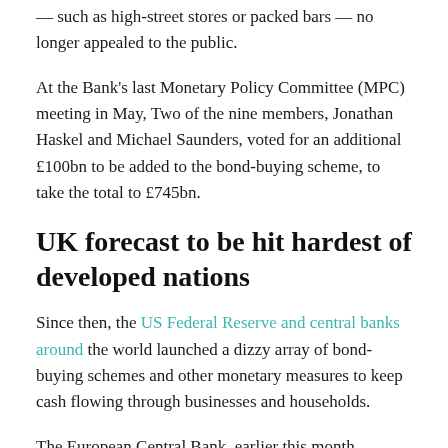— such as high-street stores or packed bars — no longer appealed to the public.
At the Bank's last Monetary Policy Committee (MPC) meeting in May, Two of the nine members, Jonathan Haskel and Michael Saunders, voted for an additional £100bn to be added to the bond-buying scheme, to take the total to £745bn.
UK forecast to be hit hardest of developed nations
Since then, the US Federal Reserve and central banks around the world launched a dizzy array of bond-buying schemes and other monetary measures to keep cash flowing through businesses and households.
The European Central Bank, earlier this month, ramped